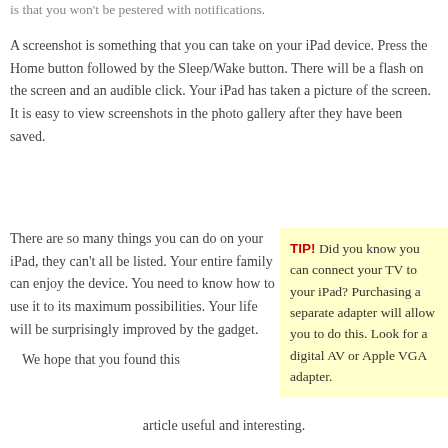is that you won't be pestered with notifications.
A screenshot is something that you can take on your iPad device. Press the Home button followed by the Sleep/Wake button. There will be a flash on the screen and an audible click. Your iPad has taken a picture of the screen. It is easy to view screenshots in the photo gallery after they have been saved.
There are so many things you can do on your iPad, they can't all be listed. Your entire family can enjoy the device. You need to know how to use it to its maximum possibilities. Your life will be surprisingly improved by the gadget.
TIP! Did you know you can connect your TV to your iPad? Purchasing a separate adapter will allow you to do this. Look for a digital AV or Apple VGA adapter.
We hope that you found this article useful and interesting.